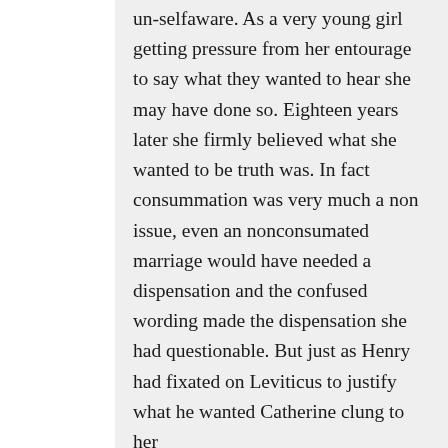un-selfaware. As a very young girl getting pressure from her entourage to say what they wanted to hear she may have done so. Eighteen years later she firmly believed what she wanted to be truth was. In fact consummation was very much a non issue, even an nonconsumated marriage would have needed a dispensation and the confused wording made the dispensation she had questionable. But just as Henry had fixated on Leviticus to justify what he wanted Catherine clung to her